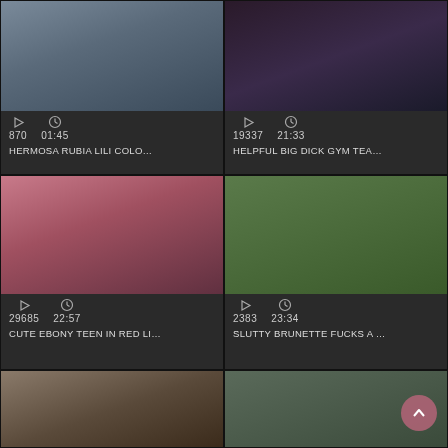[Figure (screenshot): Video thumbnail grid - top left: blurry close-up image, dark tones]
870  01:45
HERMOSA RUBIA LILI COLO…
[Figure (screenshot): Video thumbnail grid - top right: dark lace clothing image]
19337  21:33
HELPFUL BIG DICK GYM TEA…
[Figure (screenshot): Video thumbnail - middle left: pink tones]
29685  22:57
CUTE EBONY TEEN IN RED LI…
[Figure (screenshot): Video thumbnail - middle right: green couch scene]
2383  23:34
SLUTTY BRUNETTE FUCKS A …
[Figure (screenshot): Video thumbnail - bottom left: blurry dark tones]
[Figure (screenshot): Video thumbnail - bottom right: striped shirt, pink circle scroll button]